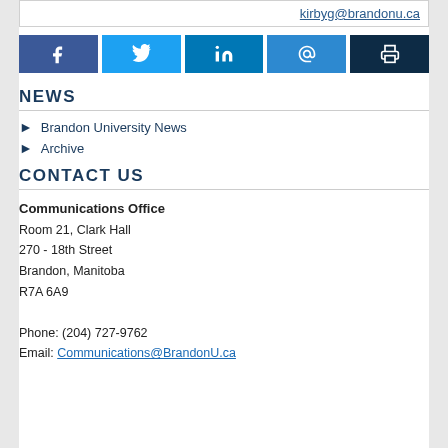kirbyg@brandonu.ca
[Figure (infographic): Row of 5 social share buttons: Facebook (dark blue), Twitter (light blue), LinkedIn (medium blue), Email/@ (blue), Print (dark navy)]
NEWS
Brandon University News
Archive
CONTACT US
Communications Office
Room 21, Clark Hall
270 - 18th Street
Brandon, Manitoba
R7A 6A9

Phone: (204) 727-9762
Email: Communications@BrandonU.ca